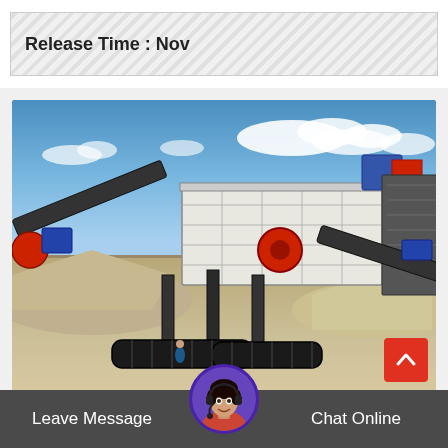Release Time : Nov
[Figure (photo): Large mobile crushing and screening plant machine on a construction/quarrying site with gravel piles, mountains in background, and blue sky with clouds]
Leave Message  |  Chat Online